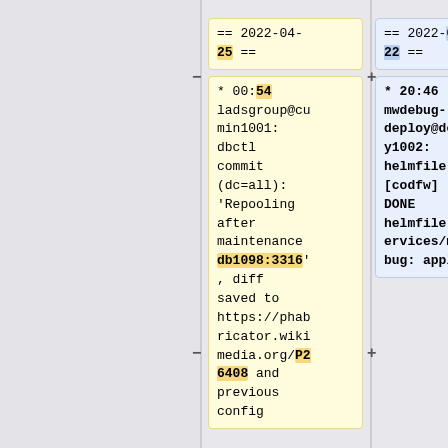== 2022-04-25 ==
== 2022-05-22 ==
* 00:54 ladsgroup@cumin1001: dbctl commit (dc=all): 'Repooling after maintenance db1098:3316', diff saved to https://phabricator.wikimedia.org/P26408 and previous config
* 20:46 mwdebug-deploy@deploy1002: helmfile [codfw] DONE helmfile.d/services/mwdebug: apply